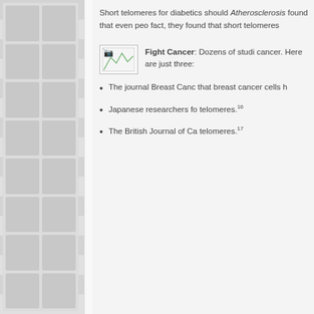Short telomeres for diabetics should... Atherosclerosis found that even peo... fact, they found that short telomeres...
[Figure (illustration): Small broken/placeholder image icon]
Fight Cancer: Dozens of studi... cancer. Here are just three:
The journal Breast Canc... that breast cancer cells h...
Japanese researchers fo... telomeres.16
The British Journal of Ca... telomeres.17